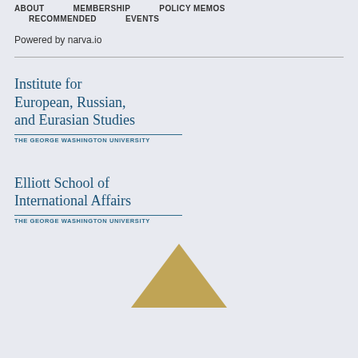ABOUT   MEMBERSHIP   POLICY MEMOS   RECOMMENDED   EVENTS
Powered by narva.io
[Figure (logo): Institute for European, Russian, and Eurasian Studies — The George Washington University logo]
[Figure (logo): Elliott School of International Affairs — The George Washington University logo]
[Figure (logo): Partial gold triangle/arrow logo at bottom of page]